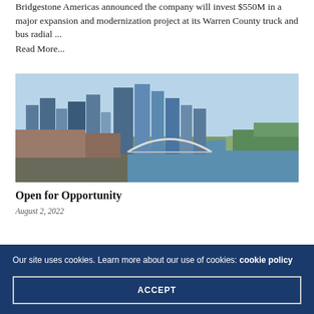Bridgestone Americas announced the company will invest $550M in a major expansion and modernization project at its Warren County truck and bus radial ...
Read More...
[Figure (photo): Aerial view of a city skyline with a river, bridges, and autumn foliage]
Open for Opportunity
August 2, 2022
Our site uses cookies. Learn more about our use of cookies: cookie policy
ACCEPT